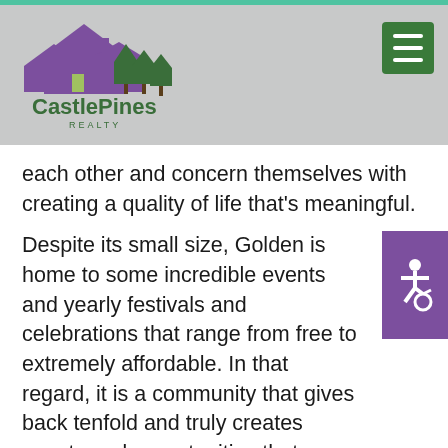CastlePines Realty
each other and concern themselves with creating a quality of life that's meaningful.
Despite its small size, Golden is home to some incredible events and yearly festivals and celebrations that range from free to extremely affordable. In that regard, it is a community that gives back tenfold and truly creates events and opportunities that directly pour back into the spirit of the city. Everything from the city's thriving beer culture (as it is home to Coors Light, a regional delicacy) and plenty of mountaineering museums, classes, and seminars. Here, everything seems to